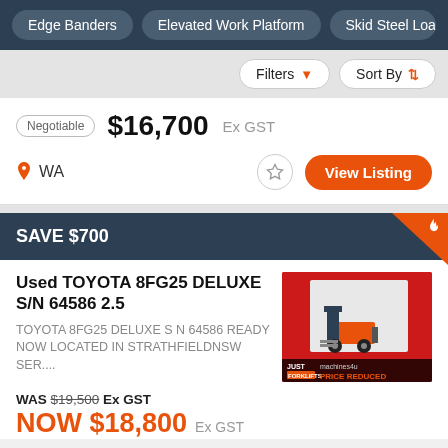Edge Banders | Elevated Work Platform | Skid Steel Loa...
Filters | Sort By
Negotiable $16,700 Ex GST
WA
View Listing
SAVE $700
Used TOYOTA 8FG25 DELUXE S/N 64586 2.5
TOYOTA 8FG25 DELUXE S N 64586 READY NOW LOCATED IN STRATHFIELDNSW SER....
[Figure (photo): Red-background product photo of a Toyota forklift with 'JUST USED FORKLIFTS' and 'machines4u PRICE REDUCED' labels]
WAS $19,500 Ex GST
NOW $18,800 Ex GST